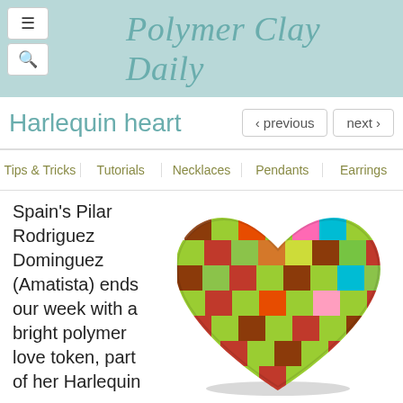Polymer Clay Daily
Harlequin heart
‹ previous
next ›
Tips & Tricks | Tutorials | Necklaces | Pendants | Earrings
Spain's Pilar Rodriguez Dominguez (Amatista) ends our week with a bright polymer love token, part of her Harlequin
[Figure (photo): A colorful harlequin-patterned polymer clay heart sculpture with green, orange/red, blue, and pink checkerboard squares]